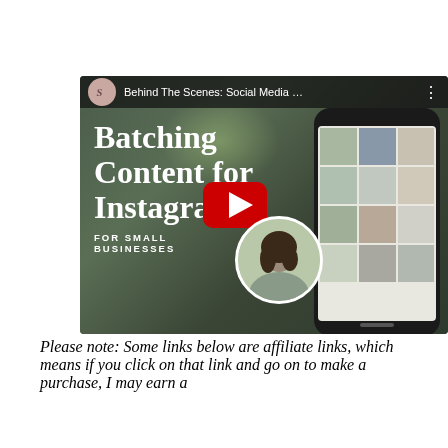[Figure (screenshot): YouTube video thumbnail showing 'Behind The Scenes: Social Media ...' with title 'Batching Content for Instagram FOR SMALL BUSINESSES', featuring a play button, a phone mockup with Instagram grid, and a circular portrait photo of a woman.]
Please note: Some links below are affiliate links, which means if you click on that link and go on to make a purchase, I may earn a